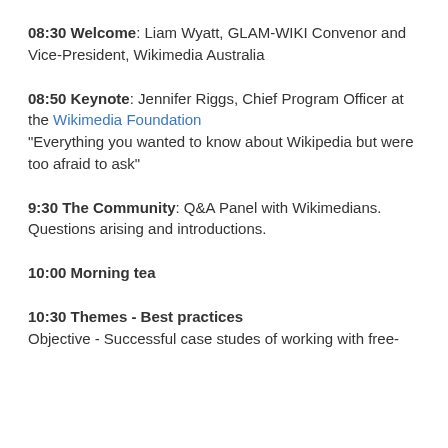08:30 Welcome: Liam Wyatt, GLAM-WIKI Convenor and Vice-President, Wikimedia Australia
08:50 Keynote: Jennifer Riggs, Chief Program Officer at the Wikimedia Foundation
"Everything you wanted to know about Wikipedia but were too afraid to ask"
9:30 The Community: Q&A Panel with Wikimedians. Questions arising and introductions.
10:00 Morning tea
10:30 Themes - Best practices
Objective - Successful case studes of working with free-